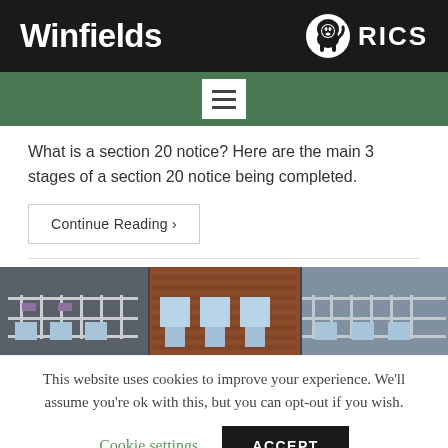Winfields | RICS
[Figure (logo): Winfields company name logo on dark background with RICS accreditation logo (lion emblem and RICS text)]
What is a section 20 notice? Here are the main 3 stages of a section 20 notice being completed.
Continue Reading ›
[Figure (photo): Photograph of apartment building balconies with brick and cladding facade]
This website uses cookies to improve your experience. We'll assume you're ok with this, but you can opt-out if you wish.
Cookie settings | ACCEPT